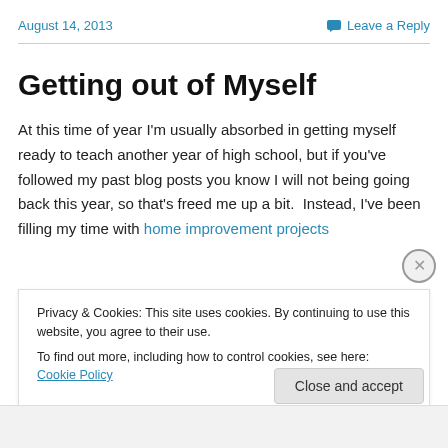August 14, 2013   Leave a Reply
Getting out of Myself
At this time of year I'm usually absorbed in getting myself ready to teach another year of high school, but if you've followed my past blog posts you know I will not being going back this year, so that's freed me up a bit.  Instead, I've been filling my time with home improvement projects
Privacy & Cookies: This site uses cookies. By continuing to use this website, you agree to their use.
To find out more, including how to control cookies, see here: Cookie Policy